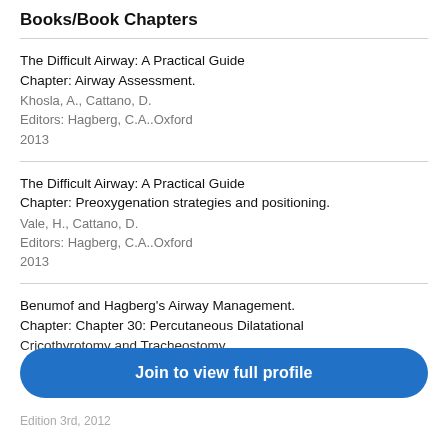Books/Book Chapters
The Difficult Airway: A Practical Guide
Chapter: Airway Assessment.
Khosla, A., Cattano, D.
Editors: Hagberg, C.A..Oxford
2013
The Difficult Airway: A Practical Guide
Chapter: Preoxygenation strategies and positioning.
Vale, H., Cattano, D.
Editors: Hagberg, C.A..Oxford
2013
Benumof and Hagberg's Airway Management.
Chapter: Chapter 30: Percutaneous Dilatational Cricothyrotomy and Tracheostomy.
Edition 3rd, 2012